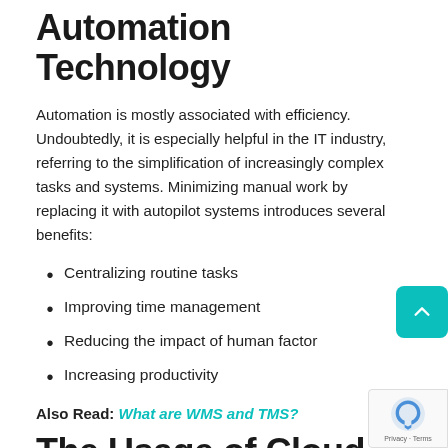Automation Technology
Automation is mostly associated with efficiency. Undoubtedly, it is especially helpful in the IT industry, referring to the simplification of increasingly complex tasks and systems. Minimizing manual work by replacing it with autopilot systems introduces several benefits:
Centralizing routine tasks
Improving time management
Reducing the impact of human factor
Increasing productivity
Also Read: What are WMS and TMS?
The Usage of Cloud